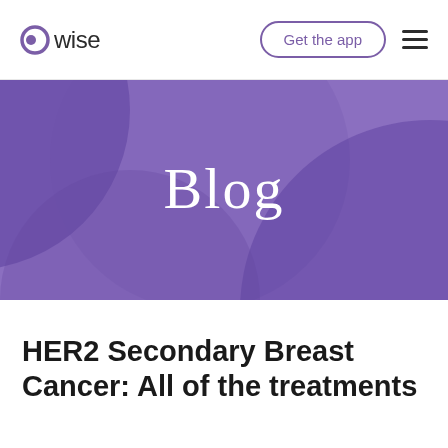wise — Get the app [navigation]
[Figure (illustration): Purple hero banner with decorative circles and 'Blog' text centered]
HER2 Secondary Breast Cancer: All of the treatments